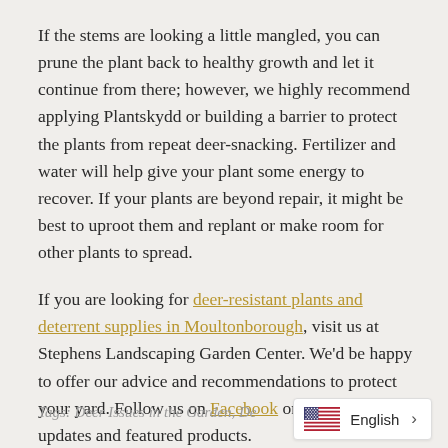If the stems are looking a little mangled, you can prune the plant back to healthy growth and let it continue from there; however, we highly recommend applying Plantskydd or building a barrier to protect the plants from repeat deer-snacking. Fertilizer and water will help give your plant some energy to recover. If your plants are beyond repair, it might be best to uproot them and replant or make room for other plants to spread.
If you are looking for deer-resistant plants and deterrent supplies in Moultonborough, visit us at Stephens Landscaping Garden Center. We'd be happy to offer our advice and recommendations to protect your yard. Follow us on Facebook or Instagram for updates and featured products.
Tags: Deer Issues in the Garden, De... English